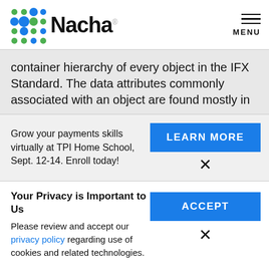[Figure (logo): Nacha logo with colorful dots pattern and wordmark]
container hierarchy of every object in the IFX Standard. The data attributes commonly associated with an object are found mostly in
Grow your payments skills virtually at TPI Home School, Sept. 12-14. Enroll today!
LEARN MORE
×
Your Privacy is Important to Us
Please review and accept our privacy policy regarding use of cookies and related technologies.
ACCEPT
×